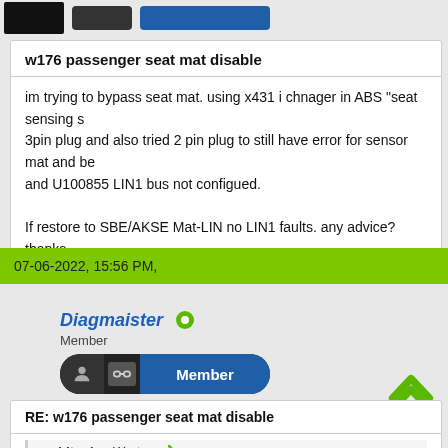[Figure (screenshot): Top bar with black thumbnail image, dark button, and blue button]
w176 passenger seat mat disable
im trying to bypass seat mat. using x431 i chnager in ABS "seat sensing s... 3pin plug and also tried 2 pin plug to still have error for sensor mat and be... and U100855 LIN1 bus not configued.

If restore to SBE/AKSE Mat-LIN no LIN1 faults. any advice? thanks
07-06-2022, 15:56 PM,
Diagmaister
Member
RE: w176 passenger seat mat disable
rapidtuning Wrote: